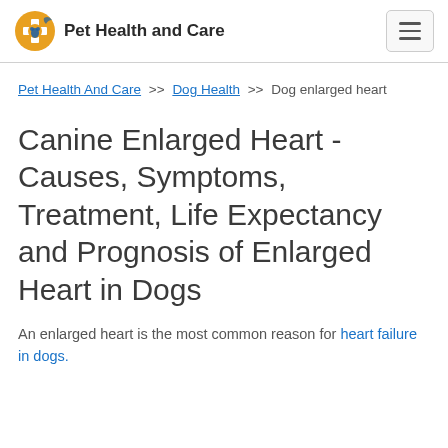Pet Health and Care
Pet Health And Care >> Dog Health >> Dog enlarged heart
Canine Enlarged Heart - Causes, Symptoms, Treatment, Life Expectancy and Prognosis of Enlarged Heart in Dogs
An enlarged heart is the most common reason for heart failure in dogs.